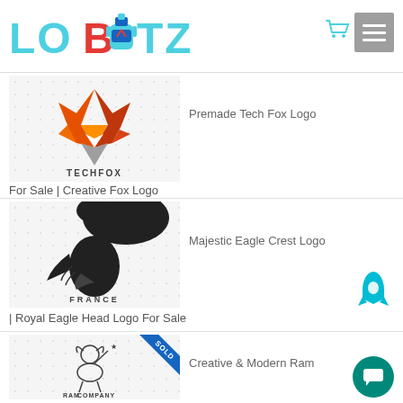[Figure (logo): Lobotz website logo with cyan and red text and robot helmet icon in center]
[Figure (photo): Tech Fox logo product image - geometric orange fox head with text TECHFOX]
For Sale | Creative Fox Logo
Premade Tech Fox Logo
[Figure (photo): Majestic Eagle Crest logo product image - black eagle head with text FRANCE]
| Royal Eagle Head Logo For Sale
Majestic Eagle Crest Logo
[Figure (photo): Creative ram logo product image with SOLD banner - illustrated ram with RAM COMPANY SLOGAN HERE text]
Creative & Modern Ram